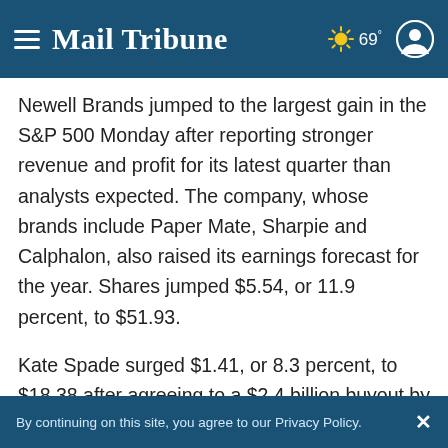Mail Tribune | 69°
Newell Brands jumped to the largest gain in the S&P 500 Monday after reporting stronger revenue and profit for its latest quarter than analysts expected. The company, whose brands include Paper Mate, Sharpie and Calphalon, also raised its earnings forecast for the year. Shares jumped $5.54, or 11.9 percent, to $51.93.
Kate Spade surged $1.41, or 8.3 percent, to $18.38 after agreeing to a $2.4 billion buyout by Coach, its rival in the luxury goods market.
By continuing on this site, you agree to our Privacy Policy.